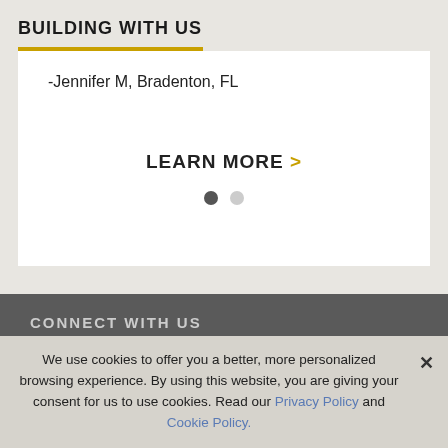BUILDING WITH US
-Jennifer M, Bradenton, FL
LEARN MORE >
CONNECT WITH US
[Figure (infographic): Social media icons: Facebook, Twitter, YouTube, Pinterest, LinkedIn, Instagram]
We use cookies to offer you a better, more personalized browsing experience. By using this website, you are giving your consent for us to use cookies. Read our Privacy Policy and Cookie Policy.